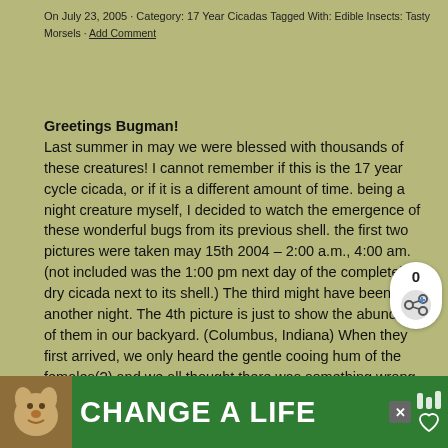On July 23, 2005 · Category: 17 Year Cicadas Tagged With: Edible Insects: Tasty Morsels · Add Comment
Greetings Bugman! Last summer in may we were blessed with thousands of these creatures! I cannot remember if this is the 17 year cycle cicada, or if it is a different amount of time. being a night creature myself, I decided to watch the emergence of these wonderful bugs from its previous shell. the first two pictures were taken may 15th 2004 – 2:00 a.m., 4:00 am. (not included was the 1:00 pm next day of the completely dry cicada next to its shell.) The third might have been from another night. The 4th picture is just to show the abundance of them in our backyard. (Columbus, Indiana) When they first arrived, we only heard the gentle cooing hum of the females(?) and we all thought there was something wrong with the powerlines! I just thought you
[Figure (other): Share widget showing count 0 and a share icon with plus symbol]
[Figure (other): Advertisement banner: green background with dog photo on left and text CHANGE A LIFE with decorative icons]